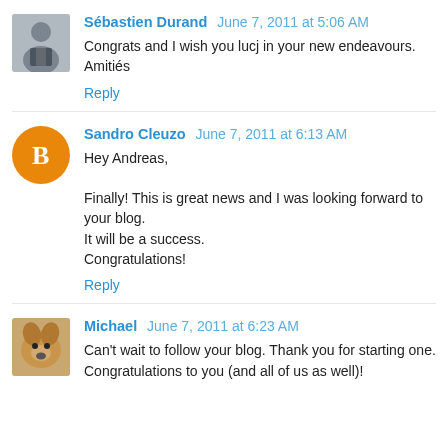Sébastien Durand  June 7, 2011 at 5:06 AM
Congrats and I wish you lucj in your new endeavours.
Amitiés
Reply
Sandro Cleuzo  June 7, 2011 at 6:13 AM
Hey Andreas,
Finally! This is great news and I was looking forward to your blog.
It will be a success.
Congratulations!
Reply
Michael  June 7, 2011 at 6:23 AM
Can't wait to follow your blog. Thank you for starting one.
Congratulations to you (and all of us as well)!